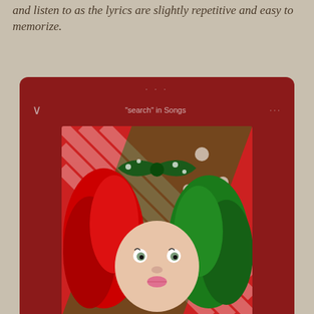and listen to as the lyrics are slightly repetitive and easy to memorize.
[Figure (screenshot): Spotify player screenshot showing 'Candy Cane Lane' by Sia. Dark red background with album art of Sia wearing a red and green wig with Christmas wrapping paper. Player shows song title, artist name, progress bar at 0:01 with -3:31 remaining, and a heart icon.]